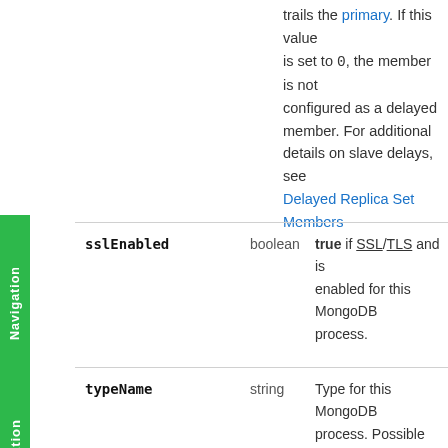trails the primary. If this value is set to 0, the member is not configured as a delayed member. For additional details on slave delays, see Delayed Replica Set Members
sslEnabled | boolean | true if SSL/TLS and is enabled for this MongoDB process.
typeName | string | Type for this MongoDB process. Possible values are:
STANDALONE
REPLICA_PRIMARY
REPLICA_SECONDARY
REPLICA_ARBITER